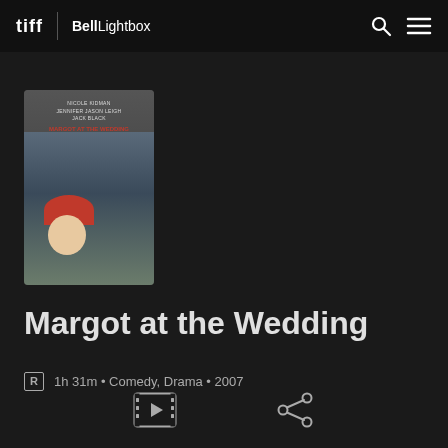tiff | Bell Lightbox
[Figure (photo): Movie poster for Margot at the Wedding featuring Nicole Kidman, Jennifer Jason Leigh, Jack Black. Shows a woman with a red hat in the foreground and another woman in the background.]
Margot at the Wedding
R  1h 31m • Comedy, Drama • 2007
[Figure (other): Play button icon (video trailer button)]
[Figure (other): Share icon]